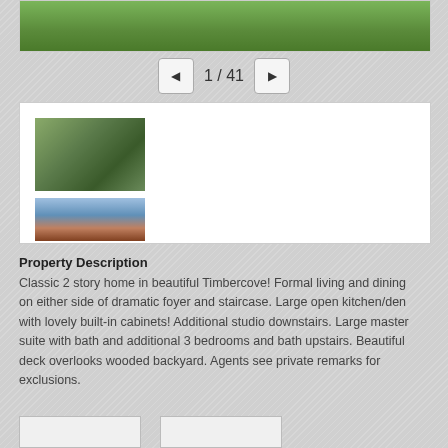[Figure (photo): Top portion of a grass/lawn photo, partially visible]
[Figure (other): Navigation control showing 1 / 41 with previous and next arrow buttons]
[Figure (photo): Thumbnail gallery panel showing two property photos: a wooded exterior and a porch/deck view]
Property Description
Classic 2 story home in beautiful Timbercove! Formal living and dining on either side of dramatic foyer and staircase. Large open kitchen/den with lovely built-in cabinets! Additional studio downstairs. Large master suite with bath and additional 3 bedrooms and bath upstairs. Beautiful deck overlooks wooded backyard. Agents see private remarks for exclusions.